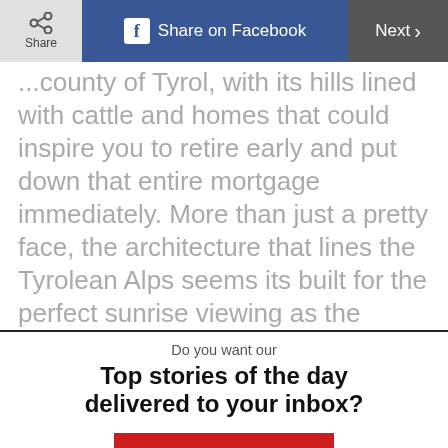Share | Share on Facebook | Next
...county of Tyrol, with its hills lined with cattle and homes that could inspire you to retire early and put down that entire mortgage immediately. More than just a pretty face, the architecture that lines the Tyrolean Alps seems its built for the perfect sunrise viewing as the homes sit perched atop its rolling hills in anticipation of the daily morning
Do you want our
Top stories of the day delivered to your inbox?
YES PLEASE!
NO THANKS